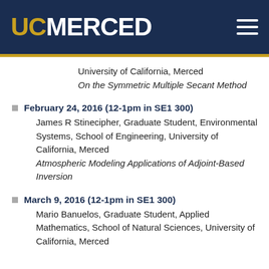UC MERCED
University of California, Merced
On the Symmetric Multiple Secant Method
February 24, 2016 (12-1pm in SE1 300)
James R Stinecipher, Graduate Student, Environmental Systems, School of Engineering, University of California, Merced
Atmospheric Modeling Applications of Adjoint-Based Inversion
March 9, 2016 (12-1pm in SE1 300)
Mario Banuelos, Graduate Student, Applied Mathematics, School of Natural Sciences, University of California, Merced